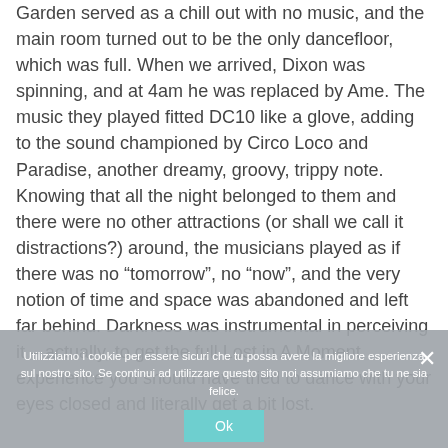Garden served as a chill out with no music, and the main room turned out to be the only dancefloor, which was full. When we arrived, Dixon was spinning, and at 4am he was replaced by Ame. The music they played fitted DC10 like a glove, adding to the sound championed by Circo Loco and Paradise, another dreamy, groovy, trippy note. Knowing that all the night belonged to them and there were no other attractions (or shall we call it distractions?) around, the musicians played as if there was no “tomorrow”, no “now”, and the very notion of time and space was abandoned and left far behind. Darkness was instrumental in perceiving it – actually, to get the full Lost in A Moment experience you should have tried to dance with your eyes closed and literally get a bit lost.
Heading to the club, we expected to
Utilizziamo i cookie per essere sicuri che tu possa avere la migliore esperienza sul nostro sito. Se continui ad utilizzare questo sito noi assumiamo che tu ne sia felice.